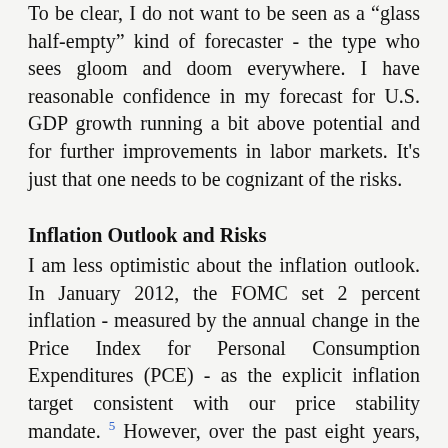To be clear, I do not want to be seen as a "glass half-empty" kind of forecaster - the type who sees gloom and doom everywhere. I have reasonable confidence in my forecast for U.S. GDP growth running a bit above potential and for further improvements in labor markets. It's just that one needs to be cognizant of the risks.
Inflation Outlook and Risks
I am less optimistic about the inflation outlook. In January 2012, the FOMC set 2 percent inflation - measured by the annual change in the Price Index for Personal Consumption Expenditures (PCE) - as the explicit inflation target consistent with our price stability mandate.5 However, over the past eight years, PCE inflation has averaged only 1-1/2 percent. To get a sense of where total inflation is likely to be headed over the next year or so, it's useful to strip out the volatile food and energy